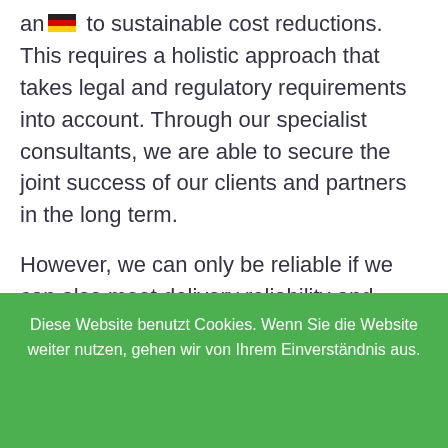and [flag] to sustainable cost reductions. This requires a holistic approach that takes legal and regulatory requirements into account. Through our specialist consultants, we are able to secure the joint success of our clients and partners in the long term.

However, we can only be reliable if we can also meet delivery reliability and adherence to delivery dates. Thanks to highly specialised production facilities and our own fleet of vehicles, we are in a position to meet the delivery requirements placed on us. We define this reliability in daily business as one of our highest goals.
Diese Website benutzt Cookies. Wenn Sie die Website weiter nutzen, gehen wir von Ihrem Einverständnis aus.